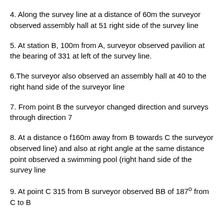4. Along the survey line at a distance of 60m the surveyor observed assembly hall at 51 right side of the survey line
5. At station B, 100m from A, surveyor observed pavilion at the bearing of 331 at left of the survey line.
6.The surveyor also observed an assembly hall at 40 to the right hand side of the surveyor line
7. From point B the surveyor changed direction and surveys through direction 7
8. At a distance o f160m away from B towards C the surveyor observed line) and also at right angle at the same distance point observed a swimming pool (right hand side of the survey line
9. At point C 315 from B surveyor observed BB of 187° from C to B